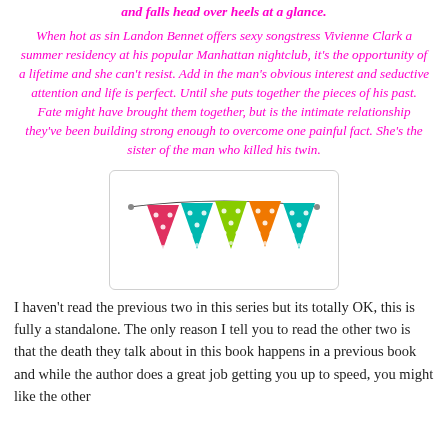and falls head over heels at a glance.
When hot as sin Landon Bennet offers sexy songstress Vivienne Clark a summer residency at his popular Manhattan nightclub, it's the opportunity of a lifetime and she can't resist. Add in the man's obvious interest and seductive attention and life is perfect. Until she puts together the pieces of his past. Fate might have brought them together, but is the intimate relationship they've been building strong enough to overcome one painful fact. She's the sister of the man who killed his twin.
[Figure (illustration): Colorful bunting/banner flags decoration — red, teal, lime green, orange, and teal triangular pennant flags with white polka dots, strung on a string, inside a rounded rectangle border.]
I haven't read the previous two in this series but its totally OK, this is fully a standalone. The only reason I tell you to read the other two is that the death they talk about in this book happens in a previous book and while the author does a great job getting you up to speed, you might like the other